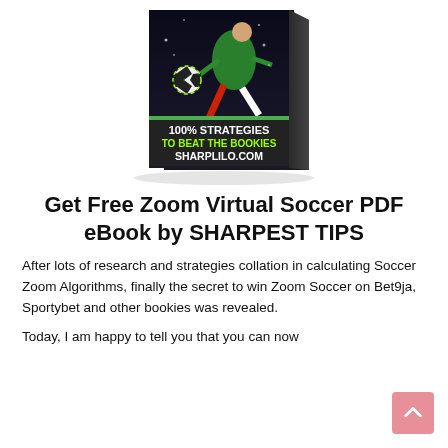[Figure (illustration): 3D book cover titled '100% STRATEGIES TO BEAT THE BOOKIES SHARPLILO.COM' with a soccer player kicking a ball on a dark background]
Get Free Zoom Virtual Soccer PDF eBook by SHARPEST TIPS
After lots of research and strategies collation in calculating Soccer Zoom Algorithms, finally the secret to win Zoom Soccer on Bet9ja, Sportybet and other bookies was revealed.
Today, I am happy to tell you that you can now